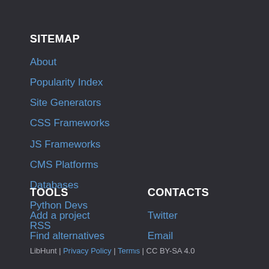SITEMAP
About
Popularity Index
Site Generators
CSS Frameworks
JS Frameworks
CMS Platforms
Databases
Python Devs
RSS
TOOLS
Add a project
Find alternatives
CONTACTS
Twitter
Email
LibHunt | Privacy Policy | Terms | CC BY-SA 4.0